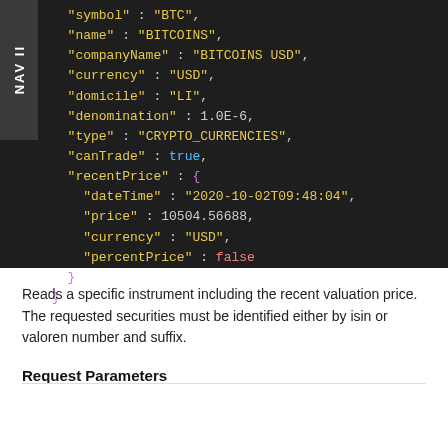[Figure (screenshot): Dark-themed code block showing JSON response with Bitcoin instrument data including symbol, name, companyName, currency, domicile, denomination, type, canTrade, and recentPrice object fields.]
Reads a specific instrument including the recent valuation price. The requested securities must be identified either by isin or valoren number and suffix.
Request Parameters